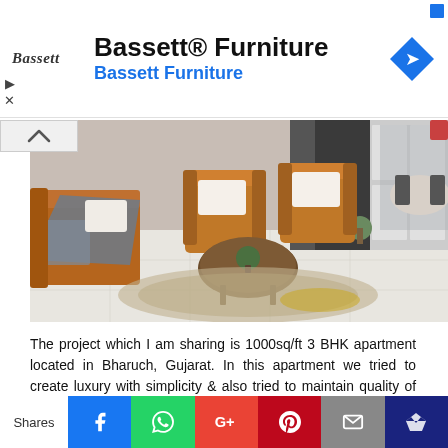[Figure (logo): Bassett Furniture advertisement banner with Bassett logo, title 'Bassett® Furniture', subtitle 'Bassett Furniture' in blue, and a blue diamond navigation icon]
[Figure (photo): Interior living room photo showing orange/caramel leather armchairs, a round wooden coffee table with a plant, a blue-grey sofa with blanket, patterned rug, white tile flooring, and a dining area in the background]
The project which I am sharing is 1000sq/ft 3 BHK apartment located in Bharuch, Gujarat. In this apartment we tried to create luxury with simplicity & also tried to maintain quality of class throughout the apartment. Certain specs of vibrancy are incorporated to add glimmer to the area using orange & grey's. Overall we
Shares [Facebook] [WhatsApp] [Google+] [Pinterest] [Email] [Crown]